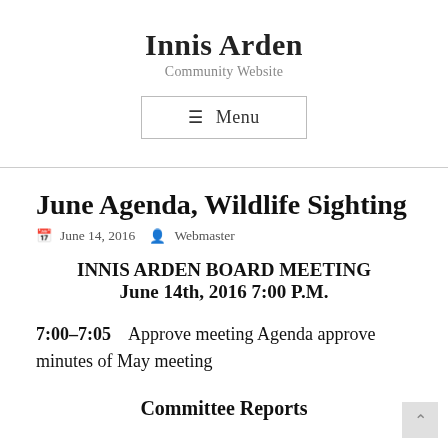Innis Arden
Community Website
June Agenda, Wildlife Sighting
June 14, 2016  Webmaster
INNIS ARDEN BOARD MEETING
June 14th, 2016 7:00 P.M.
7:00–7:05    Approve meeting Agenda approve minutes of May meeting
Committee Reports